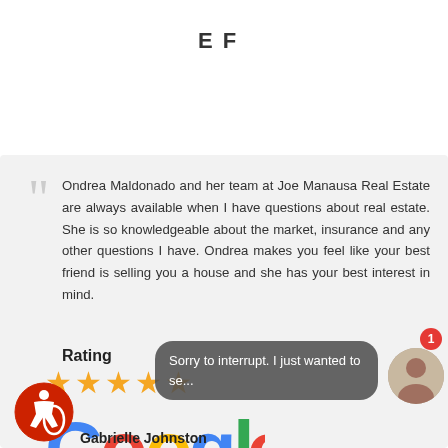E F
Ondrea Maldonado and her team at Joe Manausa Real Estate are always available when I have questions about real estate. She is so knowledgeable about the market, insurance and any other questions I have. Ondrea makes you feel like your best friend is selling you a house and she has your best interest in mind.
Rating
[Figure (other): Five orange stars rating followed by Google logo]
Sorry to interrupt. I just wanted to se...
Gabrielle Johnston